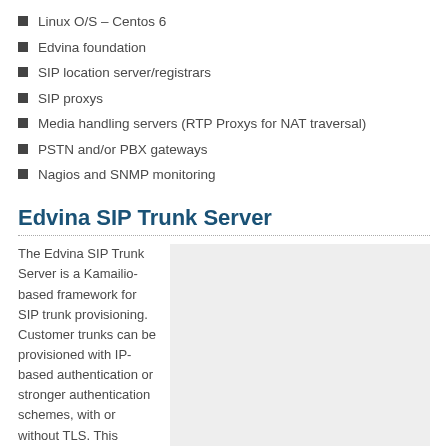Linux O/S – Centos 6
Edvina foundation
SIP location server/registrars
SIP proxys
Media handling servers (RTP Proxys for NAT traversal)
PSTN and/or PBX gateways
Nagios and SNMP monitoring
Edvina SIP Trunk Server
The Edvina SIP Trunk Server is a Kamailio-based framework for SIP trunk provisioning. Customer trunks can be provisioned with IP-based authentication or stronger authentication schemes, with or without TLS. This
[Figure (other): Gray placeholder image box on the right side of the content area]